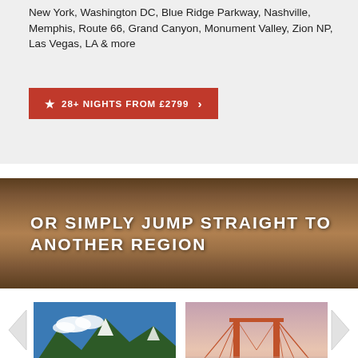New York, Washington DC, Blue Ridge Parkway, Nashville, Memphis, Route 66, Grand Canyon, Monument Valley, Zion NP, Las Vegas, LA & more
★ 28+ NIGHTS FROM £2799 ›
OR SIMPLY JUMP STRAIGHT TO ANOTHER REGION
[Figure (photo): Red canoes on a lake with mountains and clouds in the background - Canada]
Canada
FROM JUST £1499
VIEW ›
[Figure (photo): Golden Gate Bridge at dusk with misty atmosphere - California]
California
FROM JUST £1499
VIEW ›